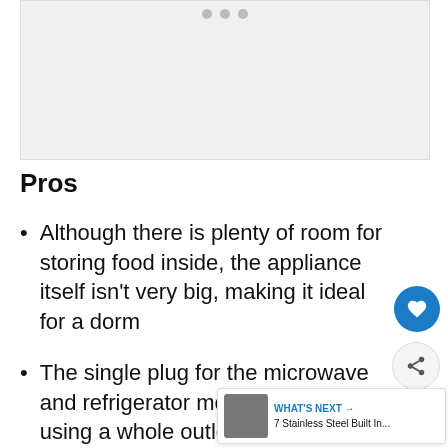[Figure (photo): Image placeholder with navigation dots at top, light gray background]
Pros
Although there is plenty of room for storing food inside, the appliance itself isn't very big, making it ideal for a dorm
The single plug for the microwave and refrigerator mean that won't be using a whole outlet when